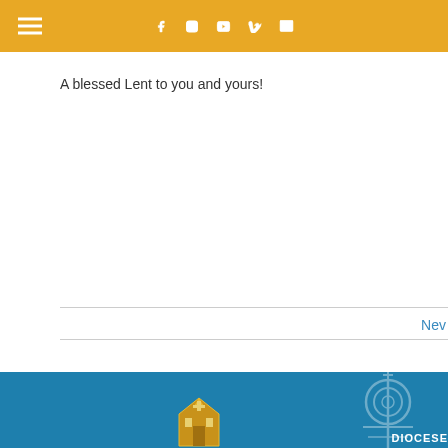Navigation bar with hamburger menu and social icons: Facebook, Instagram, YouTube, Vimeo, Email
A blessed Lent to you and yours!
New
Diocese footer with logo and watermark cross